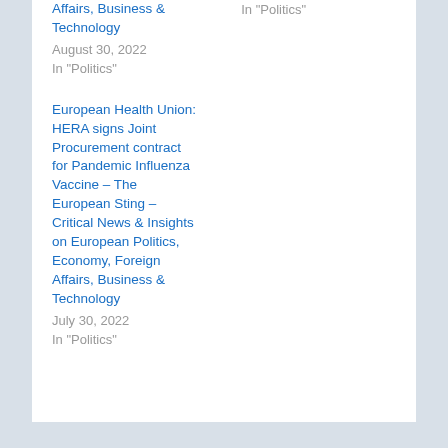Affairs, Business & Technology
August 30, 2022
In "Politics"
In "Politics"
European Health Union: HERA signs Joint Procurement contract for Pandemic Influenza Vaccine – The European Sting – Critical News & Insights on European Politics, Economy, Foreign Affairs, Business & Technology
July 30, 2022
In "Politics"